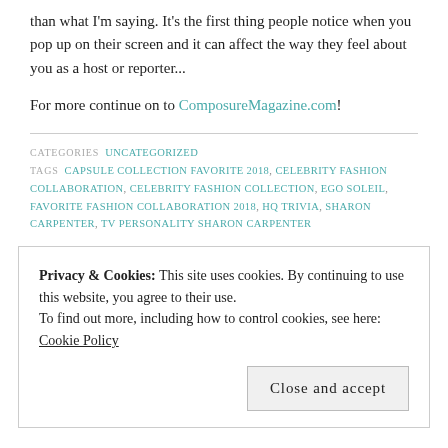than what I'm saying. It's the first thing people notice when you pop up on their screen and it can affect the way they feel about you as a host or reporter...
For more continue on to ComposureMagazine.com!
CATEGORIES  UNCATEGORIZED
TAGS  CAPSULE COLLECTION FAVORITE 2018, CELEBRITY FASHION COLLABORATION, CELEBRITY FASHION COLLECTION, EGO SOLEIL, FAVORITE FASHION COLLABORATION 2018, HQ TRIVIA, SHARON CARPENTER, TV PERSONALITY SHARON CARPENTER
Privacy & Cookies: This site uses cookies. By continuing to use this website, you agree to their use.
To find out more, including how to control cookies, see here: Cookie Policy
Close and accept